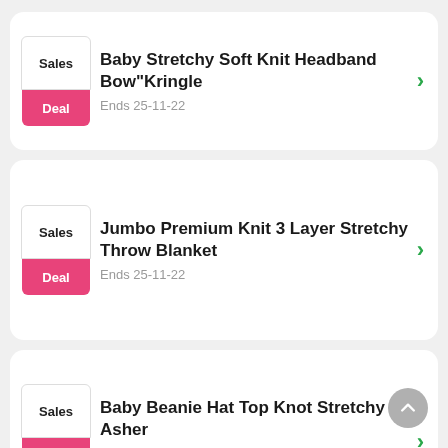Baby Stretchy Soft Knit Headband Bow"Kringle — Ends 25-11-22
Jumbo Premium Knit 3 Layer Stretchy Throw Blanket — Ends 25-11-22
Baby Beanie Hat Top Knot Stretchy Soft Asher — Ends 25-11-22